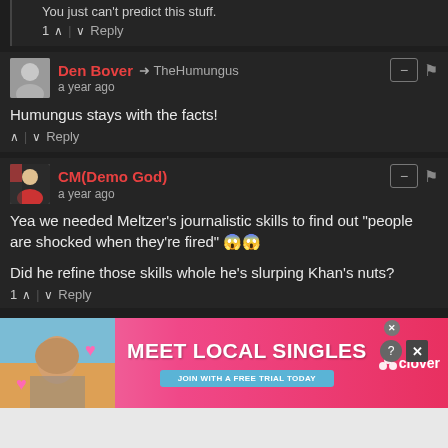You just can't predict this stuff.
1 ^ | v Reply
Den Bover → TheHumungus
a year ago
Humungus stays with the facts!
^ | v Reply
CM(Demo God)
a year ago
Yea we needed Meltzer's journalistic skills to find out "people are shocked when they're fired" 😱😱

Did he refine those skills whole he's slurping Khan's nuts?
1 ^ | v Reply
[Figure (screenshot): Advertisement banner for Clover dating app: 'MEET LOCAL SINGLES - JOIN WITH A FREE TRIAL TODAY' with a woman's photo on the left and pink/red gradient background]